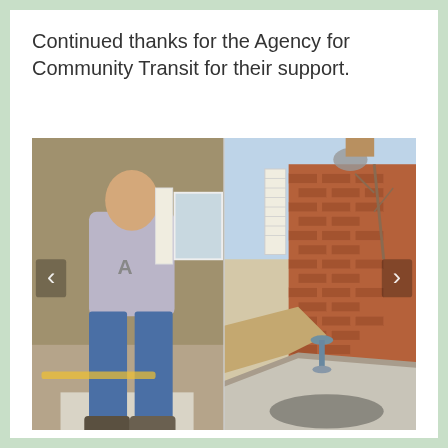Continued thanks for the Agency for Community Transit for their support.
[Figure (photo): Two-panel photograph showing a person working on a sidewalk/pathway near a brick house on the left, and the completed or existing concrete walkway along the front of the brick house with landscaping on the right. Navigation arrows on both sides indicate a slideshow.]